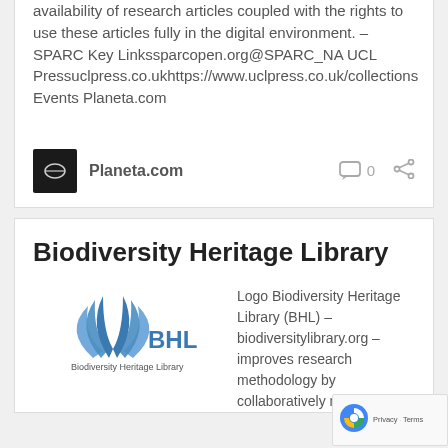availability of research articles coupled with the rights to use these articles fully in the digital environment. – SPARC Key Linkssparcopen.org@SPARC_NA UCL Pressuclpress.co.ukhttps://www.uclpress.co.uk/collections Events Planeta.com
[Figure (logo): Planeta.com avatar/logo thumbnail (dark background with small icon)]
Planeta.com
0
Biodiversity Heritage Library
[Figure (logo): Biodiversity Heritage Library (BHL) logo with blue leaf/book icon and BHL text]
Logo Biodiversity Heritage Library (BHL) – biodiversitylibrary.org – improves research methodology by collaboratively making